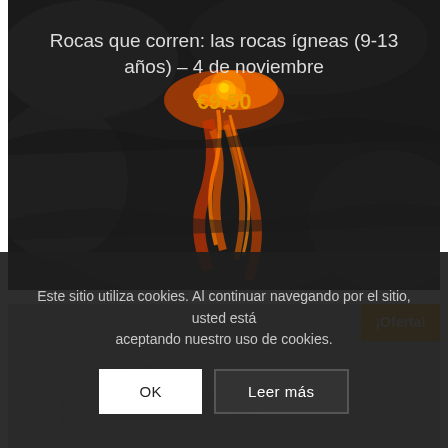[Figure (photo): Aerial photograph of lava flows over dark volcanic rock, glowing orange-red against black basalt, with text overlay showing event title and price]
Rocas que corren: las rocas ígneas (9-13 años) – 4 de noviembre
€9,50
[Figure (photo): Close-up of grey marble or stone texture with an orange '¡Oferta!' badge in the top-right corner]
¡Oferta!
Este sitio utiliza cookies. Al continuar navegando por el sitio, usted está aceptando nuestro uso de cookies.